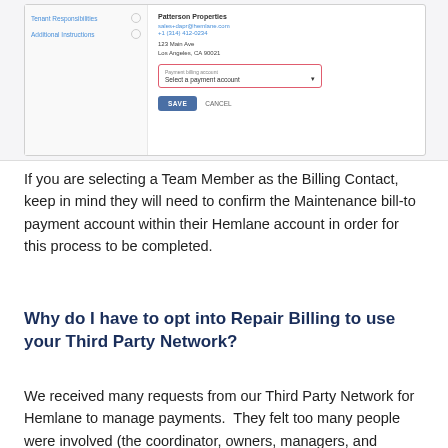[Figure (screenshot): UI screenshot showing a property management form with left sidebar items 'Tenant Responsibilities' and 'Additional Instructions', and a right panel with 'Patterson Properties' company info, email, phone, address, a payment account dropdown with red border, and SAVE/CANCEL buttons.]
If you are selecting a Team Member as the Billing Contact, keep in mind they will need to confirm the Maintenance bill-to payment account within their Hemlane account in order for this process to be completed.
Why do I have to opt into Repair Billing to use your Third Party Network?
We received many requests from our Third Party Network for Hemlane to manage payments.  They felt too many people were involved (the coordinator, owners, managers, and